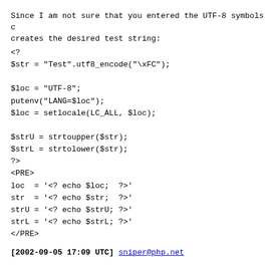Since I am not sure that you entered the UTF-8 symbols c creates the desired test string:
<?
$str = "Test".utf8_encode("\xFC");

$loc = "UTF-8";
putenv("LANG=$loc");
$loc = setlocale(LC_ALL, $loc);

$strU = strtoupper($str);
$strL = strtolower($str);
?>
<PRE>
loc  = '<? echo $loc;  ?>'
str  = '<? echo $str;  ?>'
strU = '<? echo $strU; ?>'
strL = '<? echo $strL; ?>'
</PRE>
[2002-09-05 17:09 UTC] sniper@php.net